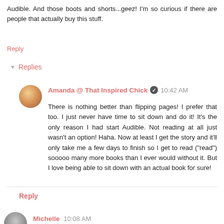Audible. And those boots and shorts...geez! I'm so curious if there are people that actually buy this stuff.
Reply
▾ Replies
Amanda @ That Inspired Chick ✔ 10:42 AM
There is nothing better than flipping pages! I prefer that too. I just never have time to sit down and do it! It's the only reason I had start Audible. Not reading at all just wasn't an option! Haha. Now at least I get the story and it'll only take me a few days to finish so I get to read ("read") sooooo many more books than I ever would without it. But I love being able to sit down with an actual book for sure!
Reply
Michelle 10:08 AM